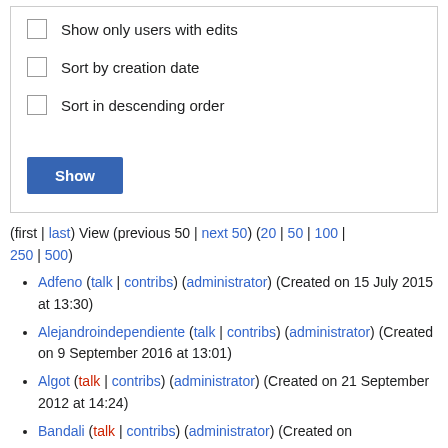Show only users with edits
Sort by creation date
Sort in descending order
(first | last) View (previous 50 | next 50) (20 | 50 | 100 | 250 | 500)
Adfeno (talk | contribs) (administrator) (Created on 15 July 2015 at 13:30)
Alejandroindependiente (talk | contribs) (administrator) (Created on 9 September 2016 at 13:01)
Algot (talk | contribs) (administrator) (Created on 21 September 2012 at 14:24)
Bandali (talk | contribs) (administrator) (Created on